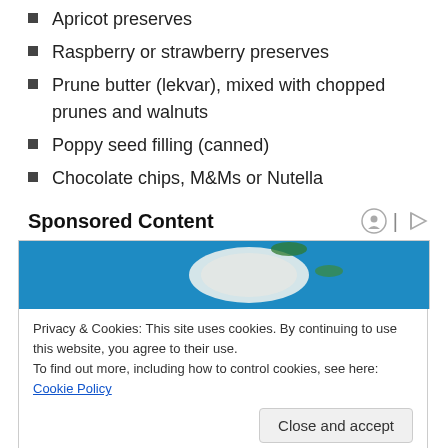Apricot preserves
Raspberry or strawberry preserves
Prune butter (lekvar), mixed with chopped prunes and walnuts
Poppy seed filling (canned)
Chocolate chips, M&Ms or Nutella
Sponsored Content
[Figure (photo): Food photo with blue background showing a white plate with various fruits and herbs on a blue wooden surface]
Privacy & Cookies: This site uses cookies. By continuing to use this website, you agree to their use.
To find out more, including how to control cookies, see here: Cookie Policy
[Figure (photo): Food photo showing vegetables with green tones at bottom]